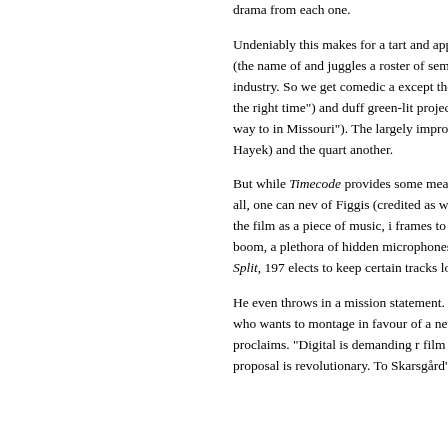drama from each one.
Undeniably this makes for a tart and appealing diet. Hollywood offices of Red Mullet films (the name of and juggles a roster of semi-crazed Day of the Locu potshots at the movie industry. So we get comedic a except the guy has a lot more problems"), forlorn m place at the right time") and duff green-lit projects ( for the star role of a girl "who's sleeping her way to in Missouri"). The largely improvised acting is sharp Stellan Skarsgård and Salma Hayek) and the quart another.
But while Timecode provides some measure of view freedom within limits. Throughout it all, one can nev of Figgis (credited as writer, director, producer and scenes. In structuring the film as a piece of music, i frames to idle while the others combust. In oversee for a boom, a plethora of hidden microphones were pioneered by Robert Altman on California Split, 197 elects to keep certain tracks low down in the mix an elsewhere.
He even throws in a mission statement. Near the en up as Ana, a glacial teenage prodigy who wants to montage in favour of a new form of cinematic langu false reality," she proclaims. "Digital is demanding r film will be played out in real time, on four cameras, the proposal is revolutionary. To Skarsgård's anguis most pretentious crap I've ever heard".